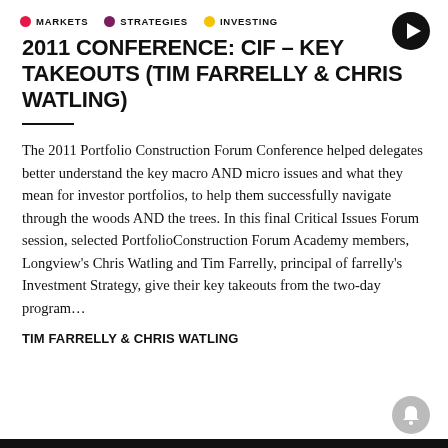MARKETS   STRATEGIES   INVESTING
2011 CONFERENCE: CIF – KEY TAKEOUTS (TIM FARRELLY & CHRIS WATLING)
The 2011 Portfolio Construction Forum Conference helped delegates better understand the key macro AND micro issues and what they mean for investor portfolios, to help them successfully navigate through the woods AND the trees. In this final Critical Issues Forum session, selected PortfolioConstruction Forum Academy members, Longview's Chris Watling and Tim Farrelly, principal of farrelly's Investment Strategy, give their key takeouts from the two-day program…
TIM FARRELLY & CHRIS WATLING